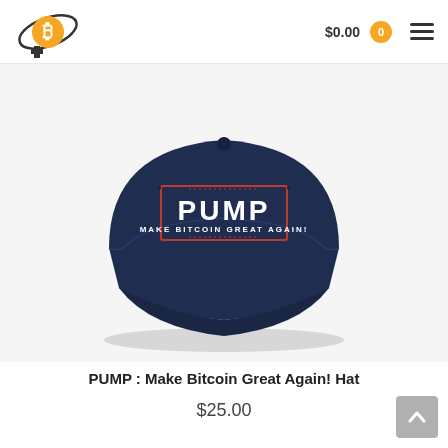$0.00  0  ☰
[Figure (photo): Navy blue baseball cap with embroidered text reading 'PUMP' in large white letters and 'MAKE BITCOIN GREAT AGAIN!' below, inside a red rectangular border on the front panel. The cap is photographed from above on a white background.]
PUMP : Make Bitcoin Great Again! Hat
$25.00